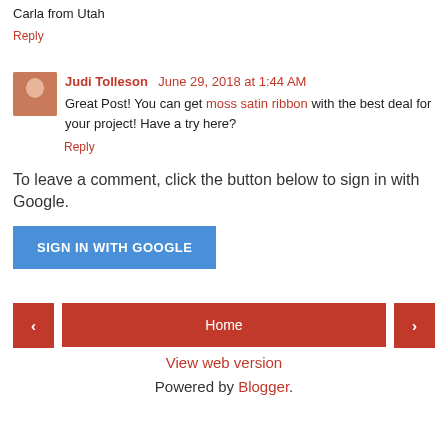Carla from Utah
Reply
Judi Tolleson  June 29, 2018 at 1:44 AM
Great Post! You can get moss satin ribbon with the best deal for your project! Have a try here?
Reply
To leave a comment, click the button below to sign in with Google.
SIGN IN WITH GOOGLE
Home
View web version
Powered by Blogger.